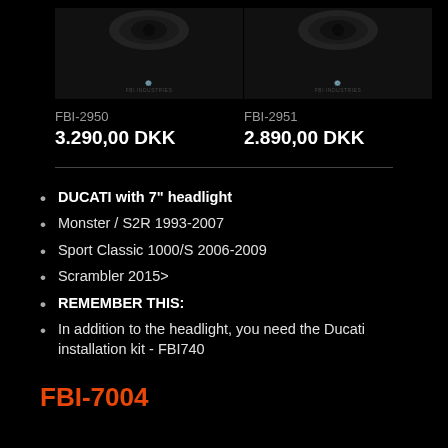[Figure (photo): Product image for FBI-2950 headlight on dark background]
FBI-2950
3.290,00 DKK
[Figure (photo): Product image for FBI-2951 headlight on dark background]
FBI-2951
2.890,00 DKK
DUCATI with 7" headlight
Monster / S2R 1993-2007
Sport Classic 1000/S 2006-2009
Scrambler 2015>
REMEMBER THIS:
In addition to the headlight, you need the Ducati installation kit - FBI740
FBI-7004